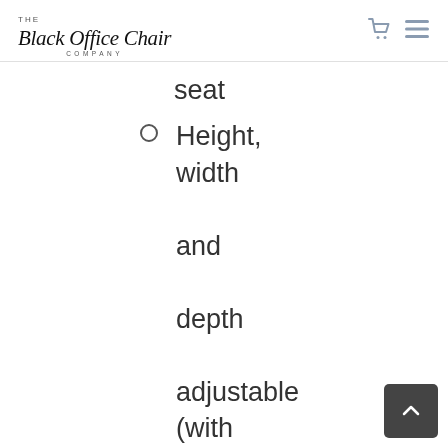The Black Office Chair Company
seat
Height, width and depth adjustable (with clip) diagonal armrests
Armrests